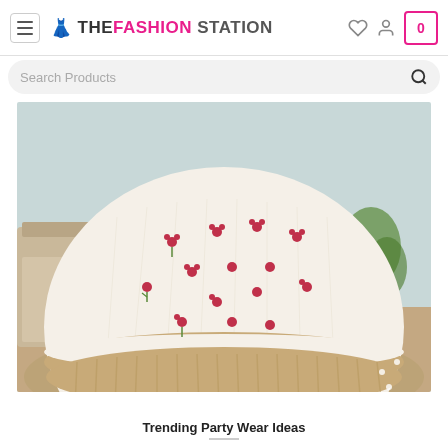THE FASHION STATION — navigation header with hamburger menu, heart icon, user icon, and cart (0)
Search Products
[Figure (photo): A white embroidered lehenga/skirt with small red floral embroidery motifs and a beige/gold ruffled hem border, displayed in a room with a chair and plants in the background.]
Trending Party Wear Ideas